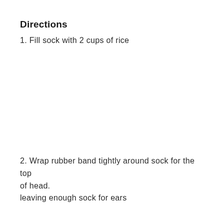Directions
1. Fill sock with 2 cups of rice
2. Wrap rubber band tightly around sock for the top of head.
leaving enough sock for ears